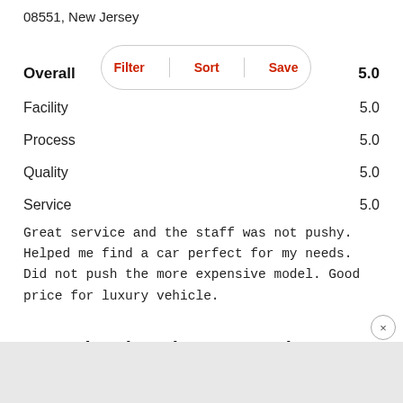08551, New Jersey
Filter | Sort | Save
Overall 5.0
Facility 5.0
Process 5.0
Quality 5.0
Service 5.0
Great service and the staff was not pushy. Helped me find a car perfect for my needs. Did not push the more expensive model. Good price for luxury vehicle.
2004 Lincoln Aviator - Gormleys Auto Center Gloucester City
May T.
Gloucester City, New Jersey